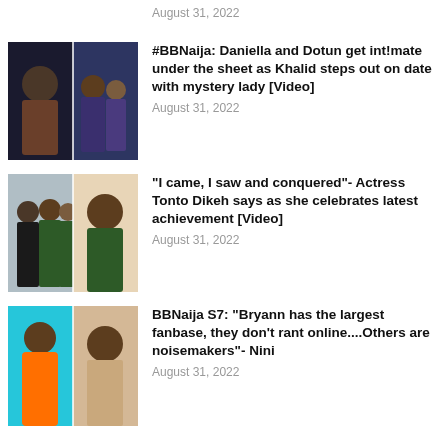August 31, 2022
[Figure (photo): Thumbnail image for BBNaija Daniella and Dotun article]
#BBNaija: Daniella and Dotun get int!mate under the sheet as Khalid steps out on date with mystery lady [Video]
August 31, 2022
[Figure (photo): Thumbnail image for Tonto Dikeh article]
“I came, I saw and conquered”- Actress Tonto Dikeh says as she celebrates latest achievement [Video]
August 31, 2022
[Figure (photo): Thumbnail image for BBNaija S7 Bryann Nini article]
BBNaija S7: “Bryann has the largest fanbase, they don’t rant online....Others are noisemakers”- Nini
August 31, 2022